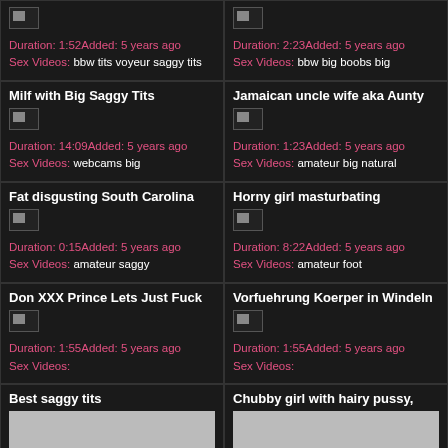Duration: 1:52Added: 5 years ago Sex Videos: bbw tits voyeur saggy tits
Duration: 2:23Added: 5 years ago Sex Videos: bbw big boobs big
Milf with Big Saggy Tits
Duration: 14:09Added: 5 years ago Sex Videos: webcams big
Jamaican uncle wife aka Aunty
Duration: 1:23Added: 5 years ago Sex Videos: amateur big natural
Fat disgusting South Carolina
Duration: 0:15Added: 5 years ago Sex Videos: amateur saggy
Horny girl masturbating
Duration: 8:22Added: 5 years ago Sex Videos: amateur foot
Don XXX Prince Lets Just Fuck
Duration: 1:55Added: 5 years ago Sex Videos:
Vorfuehrung Koerper in Windeln
Duration: 1:55Added: 5 years ago Sex Videos:
Best saggy tits
Chubby girl with hairy pussy,